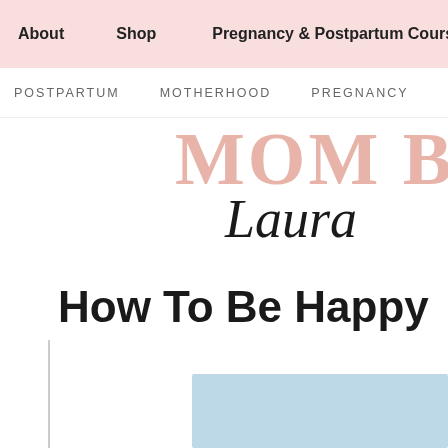About   Shop   Pregnancy & Postpartum Cours
POSTPARTUM   MOTHERHOOD   PREGNANCY   BUS
MOM B Laura
How To Be Happy